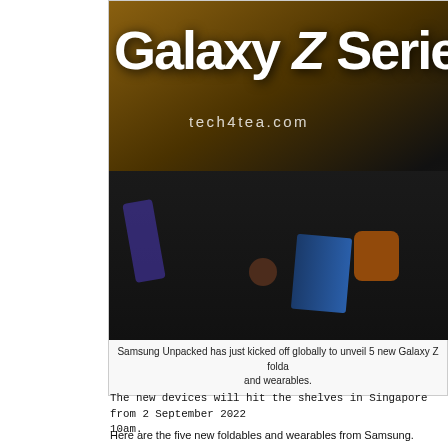[Figure (photo): Photo of Samsung Galaxy Z Series display with various devices including folding phones, earbuds, and smartwatch on a black table, with 'Galaxy Z Series' text backdrop and 'tech4tea.com' watermark]
Samsung Unpacked has just kicked off globally to unveil 5 new Galaxy Z folda and wearables.
The new devices will hit the shelves in Singapore from 2 September 2022 10am.
Here are the five new foldables and wearables from Samsung.
1. Galaxy Z Fold4 5G phablet
2. Galaxy Z Flip4 5G smartphone
3. Galaxy Watch5 Pro smartwatch
4. Galaxy Watch5 smartwatch